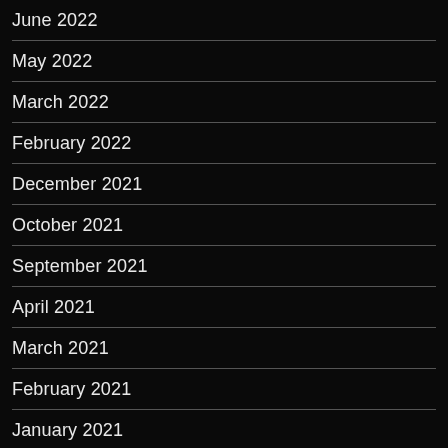June 2022
May 2022
March 2022
February 2022
December 2021
October 2021
September 2021
April 2021
March 2021
February 2021
January 2021
December 2020